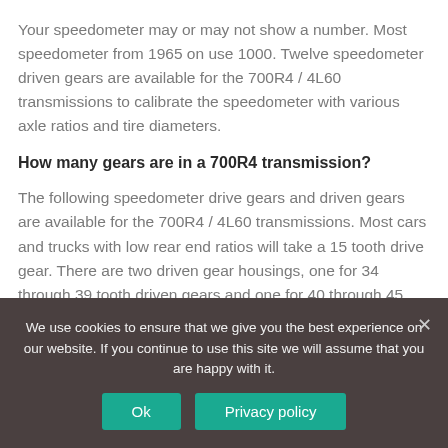Your speedometer may or may not show a number. Most speedometer from 1965 on use 1000. Twelve speedometer driven gears are available for the 700R4 / 4L60 transmissions to calibrate the speedometer with various axle ratios and tire diameters.
How many gears are in a 700R4 transmission?
The following speedometer drive gears and driven gears are available for the 700R4 / 4L60 transmissions. Most cars and trucks with low rear end ratios will take a 15 tooth drive gear. There are two driven gear housings, one for 34 through 39 tooth driven gears and one for 40 through 45 tooth driven gears.
We use cookies to ensure that we give you the best experience on our website. If you continue to use this site we will assume that you are happy with it.